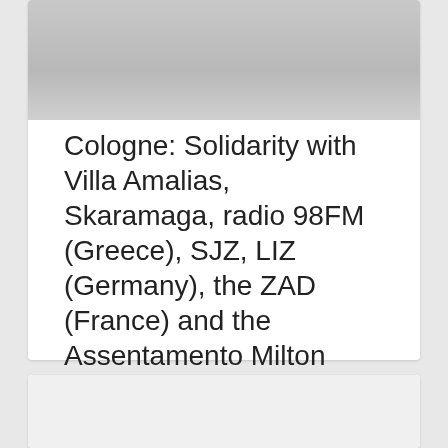[Figure (other): Gray gradient image area at the top of a card]
Cologne: Solidarity with Villa Amalias, Skaramaga, radio 98FM (Greece), SJZ, LIZ (Germany), the ZAD (France) and the Assentamento Milton Santos ...
1 comment